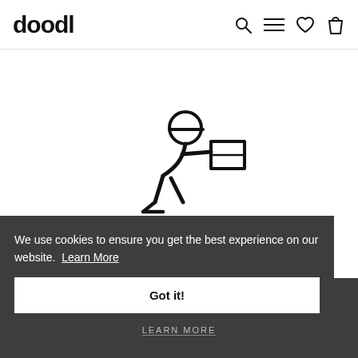doodl
[Figure (illustration): Line-art icon of a person running/delivering a package — stylized stick figure leaning forward holding a box, with speed lines underneath]
We use cookies to ensure you get the best experience on our website. Learn More
Got it!
Fast Delivery
We offer standard and express shipping.
LEARN MORE